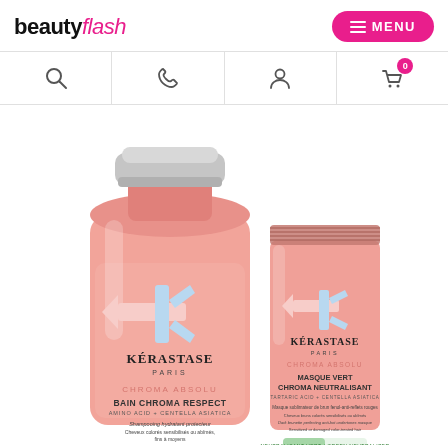beautyflash MENU
[Figure (screenshot): Navigation icons row with search, phone, user/account, and cart (0) icons]
[Figure (photo): Two Kérastase Chroma Absolu products: a large pink bottle of Bain Chroma Respect shampoo and a smaller tube of Masque Vert Chroma Neutralisant, both with pink packaging featuring the Kérastase Paris brand and the Chroma Absolu range arrow logo]